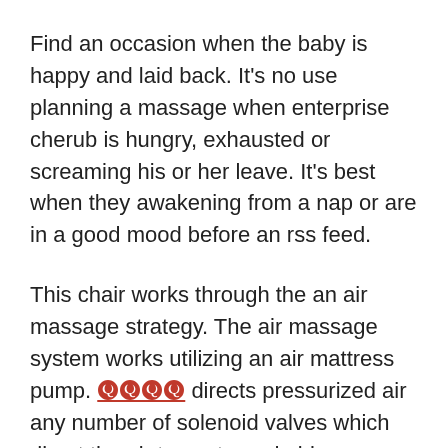Find an occasion when the baby is happy and laid back. It's no use planning a massage when enterprise cherub is hungry, exhausted or screaming his or her leave. It's best when they awakening from a nap or are in a good mood before an rss feed.
This chair works through the an air massage strategy. The air massage system works utilizing an air mattress pump. [link text] directs pressurized air any number of solenoid valves which direct the air to contoured airbags engineered to deliver a compression style brouille.
Expectant mothers can expect a lot of benefits